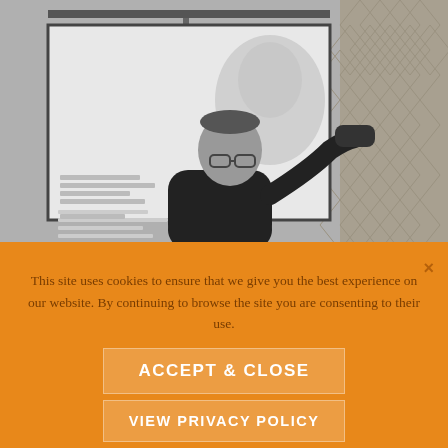[Figure (photo): Black and white photograph of a man in a dark t-shirt and glasses drinking from a bottle/tumbler, standing in front of a projection screen showing a slide with text and a faded face image. The room has patterned wallpaper on the right side.]
This site uses cookies to ensure that we give you the best experience on our website. By continuing to browse the site you are consenting to their use.
ACCEPT & CLOSE
VIEW PRIVACY POLICY